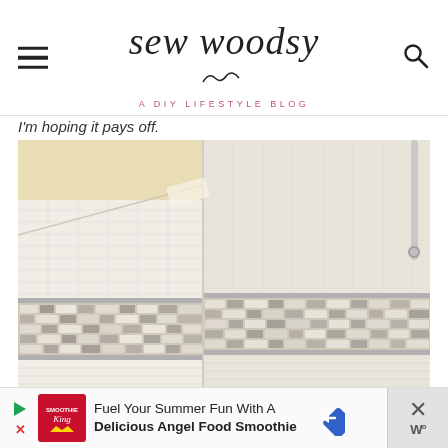sew woodsy — A DIY LIFESTYLE BLOG
I'm hoping it pays off.
[Figure (photo): Interior bathroom corner showing white subway tiles on upper walls and a decorative mixed glass and stone mosaic tile border band in the middle, with plain white tiles below. A shower curtain rod is visible in the upper right corner. The ceiling is painted a light cream/yellow color.]
Fuel Your Summer Fun With A Delicious Angel Food Smoothie